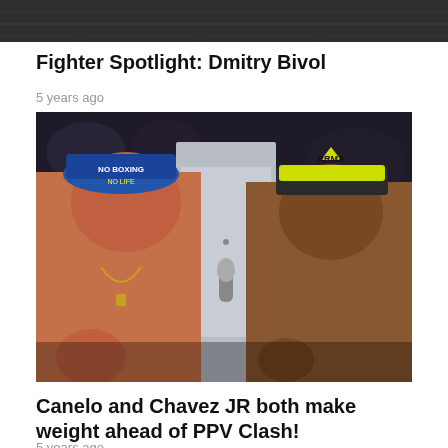[Figure (photo): Top cropped image showing a dark wooden floor/surface background]
Fighter Spotlight: Dmitry Bivol
5 years ago
[Figure (photo): Photo of Canelo Alvarez and Chavez Jr at a weigh-in face-off, with a man in a white shirt standing between them. Canelo wears a blue boxing cap and Chavez JR wears a yellow RRMA hat.]
Canelo and Chavez JR both make weight ahead of PPV Clash!
5 years ago